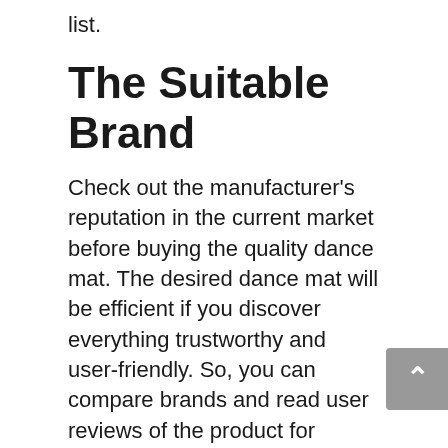list.
The Suitable Brand
Check out the manufacturer's reputation in the current market before buying the quality dance mat. The desired dance mat will be efficient if you discover everything trustworthy and user-friendly. So, you can compare brands and read user reviews of the product for clarification. In this way, you may also learn the during and after-sales services.
Usually, high-performing products may cost you more money. But extra investment on that product may ensure you get the best performance and after sales service.